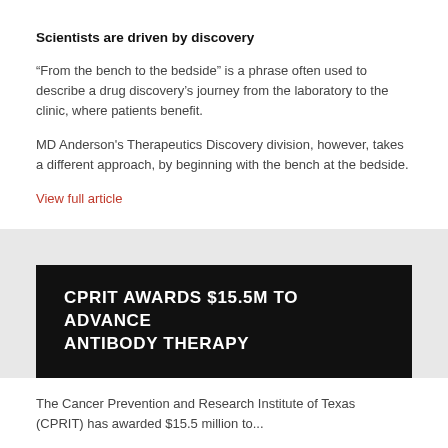Scientists are driven by discovery
“From the bench to the bedside” is a phrase often used to describe a drug discovery’s journey from the laboratory to the clinic, where patients benefit.
MD Anderson's Therapeutics Discovery division, however, takes a different approach, by beginning with the bench at the bedside.
View full article
CPRIT AWARDS $15.5M TO ADVANCE ANTIBODY THERAPY
The Cancer Prevention and Research Institute of Texas (CPRIT) has awarded $15.5 million to...